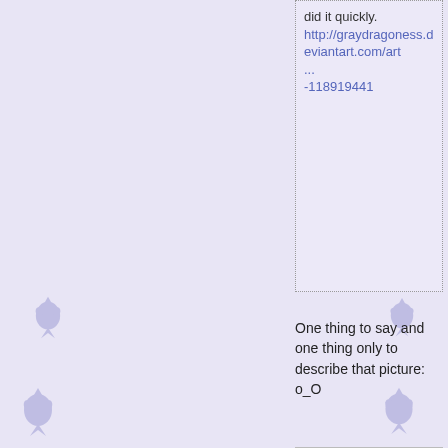did it quickly. http://graydragoness.deviantart.com/art ... -118919441
One thing to say and one thing only to describe that picture:  o_O